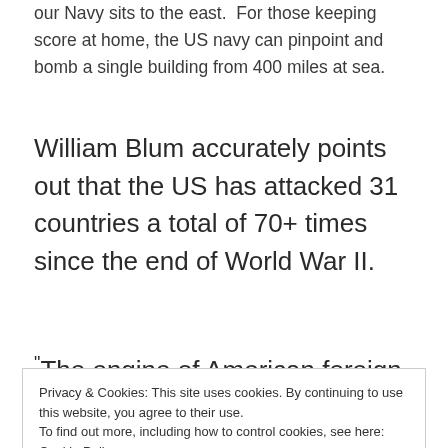our Navy sits to the east.  For those keeping score at home, the US navy can pinpoint and bomb a single building from 400 miles at sea.
William Blum accurately points out that the US has attacked 31 countries a total of 70+ times since the end of World War II.
"The engine of American foreign policy
Privacy & Cookies: This site uses cookies. By continuing to use this website, you agree to their use.
To find out more, including how to control cookies, see here: Cookie Policy
Close and accept